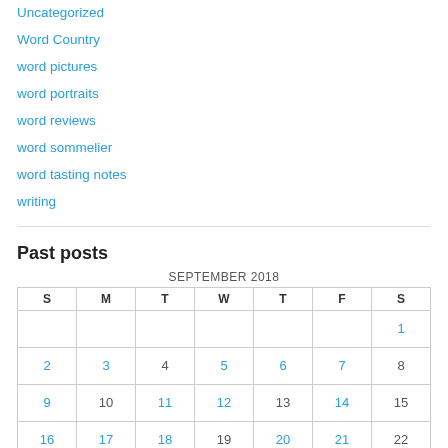Uncategorized
Word Country
word pictures
word portraits
word reviews
word sommelier
word tasting notes
writing
Past posts
| S | M | T | W | T | F | S |
| --- | --- | --- | --- | --- | --- | --- |
|  |  |  |  |  |  | 1 |
| 2 | 3 | 4 | 5 | 6 | 7 | 8 |
| 9 | 10 | 11 | 12 | 13 | 14 | 15 |
| 16 | 17 | 18 | 19 | 20 | 21 | 22 |
| 23 | 24 | 25 | 26 | 27 | 28 | 29 |
| 30 |  |  |  |  |  |  |